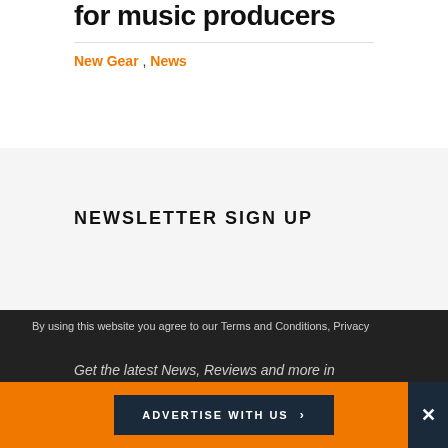for music producers
New Gear , News
NEWSLETTER SIGN UP
By using this website you agree to our Terms and Conditions, Privacy
Get the latest News, Reviews and more in
ADVERTISE WITH US >